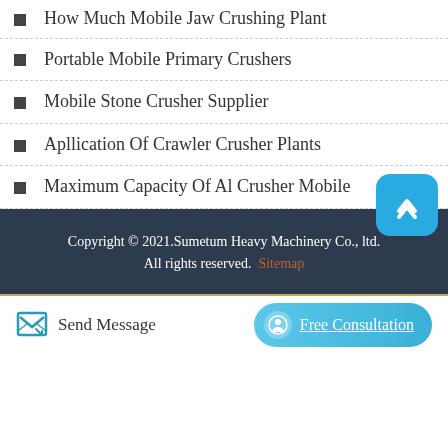How Much Mobile Jaw Crushing Plant
Portable Mobile Primary Crushers
Mobile Stone Crusher Supplier
Apllication Of Crawler Crusher Plants
Maximum Capacity Of Al Crusher Mobile
Copyright © 2021.Sumetum Heavy Machinery Co., ltd. All rights reserved. Sitemap
Send Message
Free Consultation